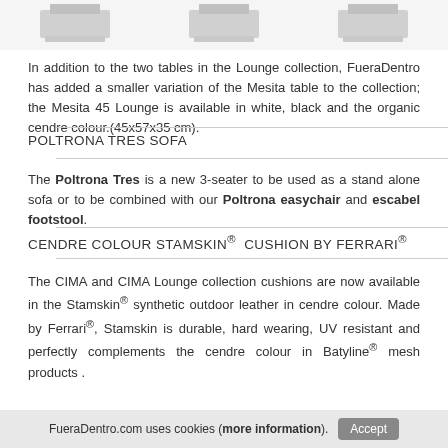[Figure (photo): Three product images of tables shown at the top of the page, partially cropped]
In addition to the two tables in the Lounge collection, FueraDentro has added a smaller variation of the Mesita table to the collection; the Mesita 45 Lounge is available in white, black and the organic cendre colour.(45x57x35 cm).
POLTRONA TRES SOFA
The Poltrona Tres is a new 3-seater to be used as a stand alone sofa or to be combined with our Poltrona easychair and escabel footstool.
CENDRE COLOUR STAMSKIN®  CUSHION BY FERRARI®
The CIMA and CIMA Lounge collection cushions are now available in the Stamskin® synthetic outdoor leather in cendre colour. Made by Ferrari®, Stamskin is durable, hard wearing, UV resistant and perfectly complements the cendre colour in Batyline® mesh products .
FueraDentro.com uses cookies (more information). Accept